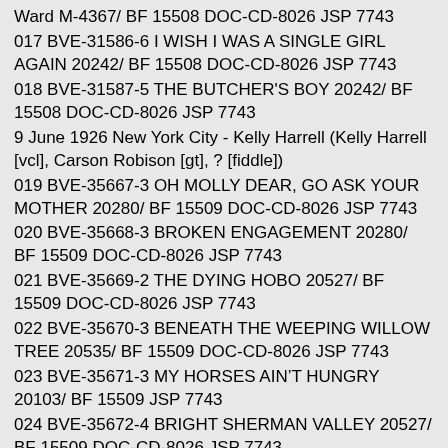Ward M-4367/ BF 15508 DOC-CD-8026 JSP 7743
017 BVE-31586-6 I WISH I WAS A SINGLE GIRL AGAIN 20242/ BF 15508 DOC-CD-8026 JSP 7743
018 BVE-31587-5 THE BUTCHER'S BOY 20242/ BF 15508 DOC-CD-8026 JSP 7743
9 June 1926 New York City - Kelly Harrell (Kelly Harrell [vcl], Carson Robison [gt], ? [fiddle])
019 BVE-35667-3 OH MOLLY DEAR, GO ASK YOUR MOTHER 20280/ BF 15509 DOC-CD-8026 JSP 7743
020 BVE-35668-3 BROKEN ENGAGEMENT 20280/ BF 15509 DOC-CD-8026 JSP 7743
021 BVE-35669-2 THE DYING HOBO 20527/ BF 15509 DOC-CD-8026 JSP 7743
022 BVE-35670-3 BENEATH THE WEEPING WILLOW TREE 20535/ BF 15509 DOC-CD-8026 JSP 7743
023 BVE-35671-3 MY HORSES AIN'T HUNGRY 20103/ BF 15509 JSP 7743
024 BVE-35672-4 BRIGHT SHERMAN VALLEY 20527/ BF 15509 DOC-CD-8026 JSP 7743
10 June 1926 New York City - Kelly Harrell (Kelly Harrell [vcl], Carson Robison [gt], ? [fiddle])
025 BVE-35673-2 THE CUCKOO SHE'S A FINE BIRD V…